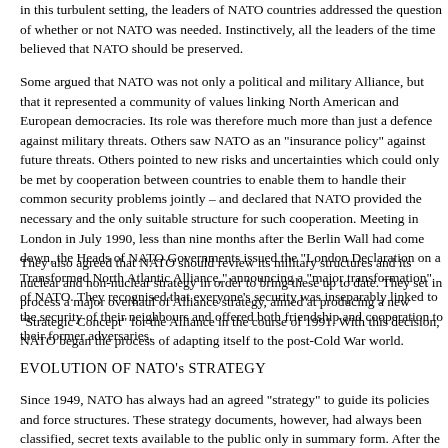in this turbulent setting, the leaders of NATO countries addressed the question of whether or not NATO was needed. Instinctively, all the leaders of the time believed that NATO should be preserved.
Some argued that NATO was not only a political and military Alliance, but that it represented a community of values linking North American and European democracies. Its role was therefore much more than just a defence against military threats. Others saw NATO as an "insurance policy" against future threats. Others pointed to new risks and uncertainties which could only be met by cooperation between countries to enable them to handle their common security problems jointly – and declared that NATO provided the necessary and the only suitable structure for such cooperation. Meeting in London in July 1990, less than nine months after the Berlin Wall had come down, the Heads of NATO Governments issued the "London Declaration on a Transformed North Atlantic Alliance," announcing a "major transformation" of NATO. They recognised that everyone's security was inseparably linked to the security of their neighbours and offered both friendship and cooperation to their former adversaries.
They also agreed that NATO should review its military structures and its nuclear and non-nuclear strategy in order to bring these up to date. They set in process a major overhaul of Alliance strategy, aimed at producing a new "Strategic Concept" for the Alliance in the course of 1991. With this decision, NATO began the process of adapting itself to the post-Cold War world.
EVOLUTION OF NATO's STRATEGY
Since 1949, NATO has always had an agreed "strategy" to guide its policies and force structures. These strategy documents, however, had always been classified, secret texts available to the public only in summary form. After the end of the Cold War, it was